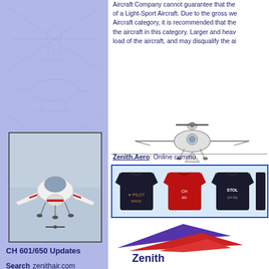Aircraft Company cannot guarantee that the of a Light-Sport Aircraft. Due to the gross we Aircraft category, it is recommended that the the aircraft in this category. Larger and heav load of the aircraft, and may disqualify the ai
[Figure (illustration): Top-down schematic illustration of a small aircraft (front view showing wings and propeller)]
Zenith.Aero: Online commu
[Figure (photo): Three aviation-themed t-shirts displayed: one black, one red, one black with STOL text]
[Figure (logo): Zenith Aircraft Company logo with stylized red and purple wing/arrow shapes]
Zenith
[Figure (photo): Photo of a red and white Zenith CH 601/650 aircraft in flight, front view]
CH 601/650 Updates
Search zenithair.com